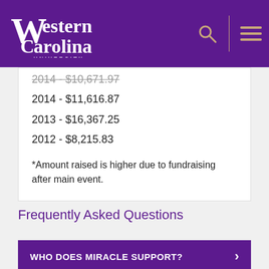Western Carolina University
2014 - $10,671.97
2014 - $11,616.87
2013 - $16,367.25
2012 - $8,215.83
*Amount raised is higher due to fundraising after main event.
Frequently Asked Questions
WHO DOES MIRACLE SUPPORT?